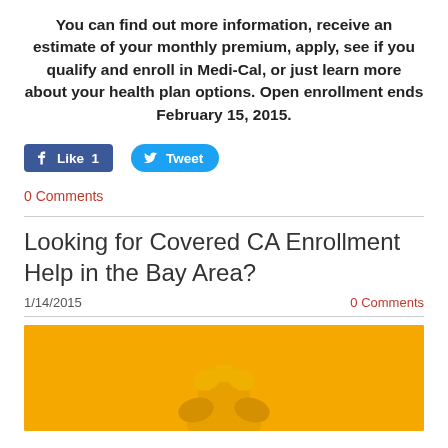You can find out more information, receive an estimate of your monthly premium, apply, see if you qualify and enroll in Medi-Cal, or just learn more about your health plan options.  Open enrollment ends February 15, 2015.
[Figure (other): Facebook Like button (count: 1) and Twitter Tweet button]
0 Comments
Looking for Covered CA Enrollment Help in the Bay Area?
1/14/2015
0 Comments
[Figure (photo): Yellow/orange background with a yellow chick or bird figure visible at the bottom of the image]